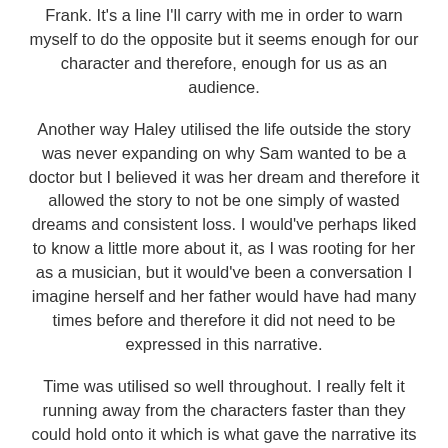Frank. It's a line I'll carry with me in order to warn myself to do the opposite but it seems enough for our character and therefore, enough for us as an audience.
Another way Haley utilised the life outside the story was never expanding on why Sam wanted to be a doctor but I believed it was her dream and therefore it allowed the story to not be one simply of wasted dreams and consistent loss. I would've perhaps liked to know a little more about it, as I was rooting for her as a musician, but it would've been a conversation I imagine herself and her father would have had many times before and therefore it did not need to be expressed in this narrative.
Time was utilised so well throughout. I really felt it running away from the characters faster than they could hold onto it which is what gave the narrative its bittersweet feel. Sam and Frank didn't have enough time to explore this dream together but I don't believe they were denied anything by the writers.
I want to talk about perhaps the movie's most pivotal moment because it was just such a beautiful scene, and it also had me tearing up.